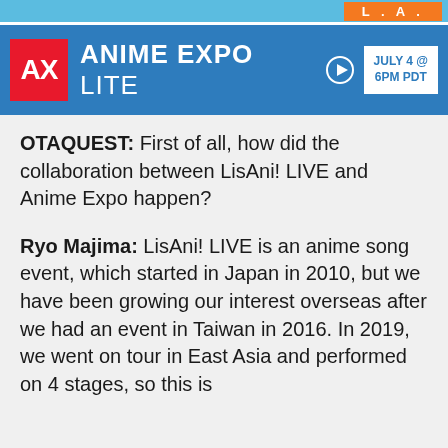[Figure (banner): Anime Expo Lite banner with AX logo in red, blue background, 'ANIME EXPO LITE' text with play button icon, and date box showing 'JULY 4 @ 6PM PDT'. Top strip shows 'L . A .' in orange box.]
OTAQUEST: First of all, how did the collaboration between LisAni! LIVE and Anime Expo happen?
Ryo Majima: LisAni! LIVE is an anime song event, which started in Japan in 2010, but we have been growing our interest overseas after we had an event in Taiwan in 2016. In 2019, we went on tour in East Asia and performed on 4 stages, so this is